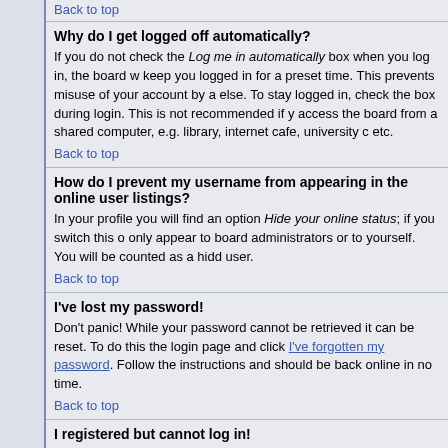Back to top
Why do I get logged off automatically?
If you do not check the Log me in automatically box when you log in, the board will only keep you logged in for a preset time. This prevents misuse of your account by anyone else. To stay logged in, check the box during login. This is not recommended if you access the board from a shared computer, e.g. library, internet cafe, university computer lab, etc.
Back to top
How do I prevent my username from appearing in the online user listings?
In your profile you will find an option Hide your online status; if you switch this on you will only appear to board administrators or to yourself. You will be counted as a hidden user.
Back to top
I've lost my password!
Don't panic! While your password cannot be retrieved it can be reset. To do this go to the login page and click I've forgotten my password. Follow the instructions and you should be back online in no time.
Back to top
I registered but cannot log in!
First check that you are entering the correct username and password. If they are then one of two things may have happened: if COPPA support is enabled and you clicked the I am under 13 years old link while registering then you will have to fo